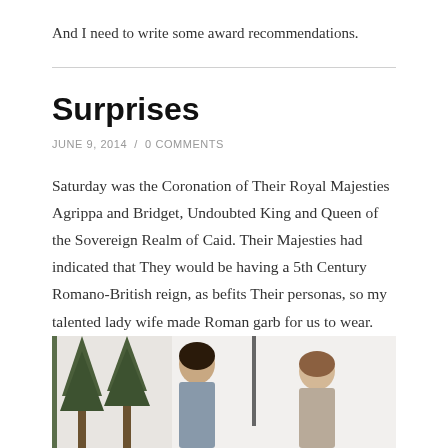And I need to write some award recommendations.
Surprises
JUNE 9, 2014  /  0 COMMENTS
Saturday was the Coronation of Their Royal Majesties Agrippa and Bridget, Undoubted King and Queen of the Sovereign Realm of Caid. Their Majesties had indicated that They would be having a 5th Century Romano-British reign, as befits Their personas, so my talented lady wife made Roman garb for us to wear.
[Figure (photo): Photograph of two people in Roman garb outdoors with trees in the background]